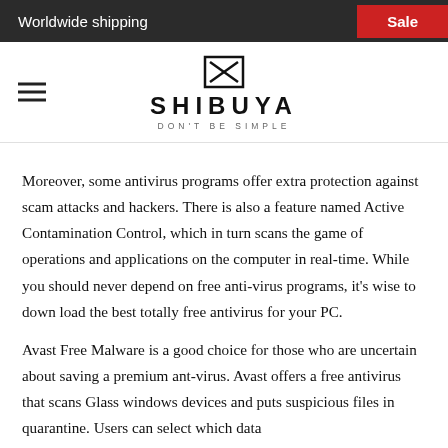Worldwide shipping   Sale
[Figure (logo): Shibuya logo with stylized X icon, brand name SHIBUYA and tagline DON'T BE SIMPLE]
Moreover, some antivirus programs offer extra protection against scam attacks and hackers. There is also a feature named Active Contamination Control, which in turn scans the game of operations and applications on the computer in real-time. While you should never depend on free anti-virus programs, it's wise to down load the best totally free antivirus for your PC.
Avast Free Malware is a good choice for those who are uncertain about saving a premium ant-virus. Avast offers a free antivirus that scans Glass windows devices and puts suspicious files in quarantine. Users can select which data